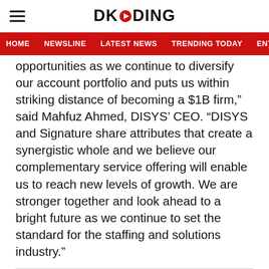DKODING
HOME  NEWSLINE  LATEST NEWS  TRENDING TODAY  ENT
opportunities as we continue to diversify our account portfolio and puts us within striking distance of becoming a $1B firm,” said Mahfuz Ahmed, DISYS’ CEO. “DISYS and Signature share attributes that create a synergistic whole and we believe our complementary service offering will enable us to reach new levels of growth. We are stronger together and look ahead to a bright future as we continue to set the standard for the staffing and solutions industry.”
ADVERTISEMENT